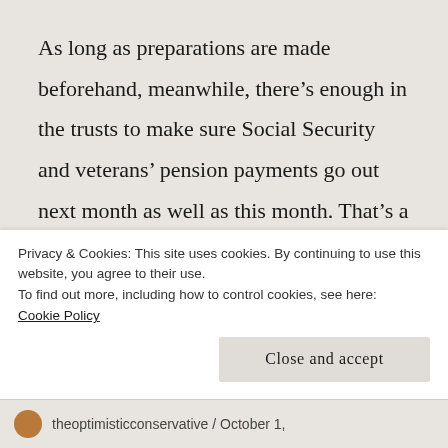As long as preparations are made beforehand, meanwhile, there’s enough in the trusts to make sure Social Security and veterans’ pension payments go out next month as well as this month. That’s a relief to millions of elderly who can’t just go start harvesting vegetables or sweeping floors if their checks don’t come in.  We can assume Congress will keep a sharp eye out for the potential problems, and
Privacy & Cookies: This site uses cookies. By continuing to use this website, you agree to their use.
To find out more, including how to control cookies, see here: Cookie Policy
Close and accept
theoptimisticconservative / October 1,